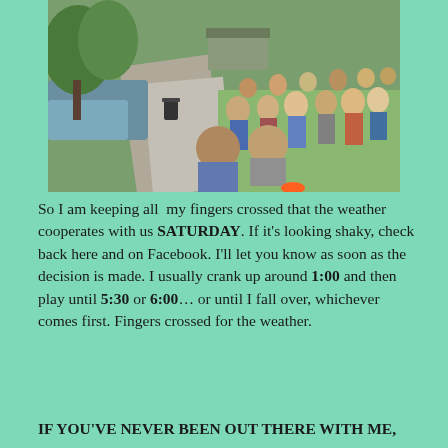[Figure (photo): Outdoor park scene with people sitting on grass along a paved path near water. Trees visible in background along with a pavilion structure. Crowd of people visible on the right side seated on grass.]
So I am keeping all  my fingers crossed that the weather cooperates with us SATURDAY. If it's looking shaky, check back here and on Facebook. I'll let you know as soon as the decision is made. I usually crank up around 1:00 and then play until 5:30 or 6:00… or until I fall over, whichever comes first. Fingers crossed for the weather.
IF YOU'VE NEVER BEEN OUT THERE WITH ME,